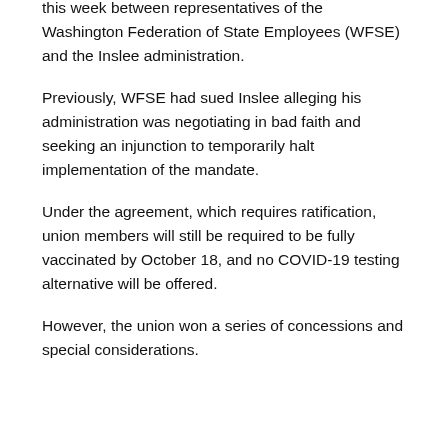this week between representatives of the Washington Federation of State Employees (WFSE) and the Inslee administration.
Previously, WFSE had sued Inslee alleging his administration was negotiating in bad faith and seeking an injunction to temporarily halt implementation of the mandate.
Under the agreement, which requires ratification, union members will still be required to be fully vaccinated by October 18, and no COVID-19 testing alternative will be offered.
However, the union won a series of concessions and special considerations.